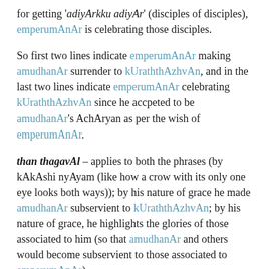for getting 'adiyArkku adiyAr' (disciples of disciples), emperumAnAr is celebrating those disciples.
So first two lines indicate emperumAnAr making amudhanAr surrender to kUraththAzhvAn, and in the last two lines indicate emperumAnAr celebrating kUraththAzhvAn since he accpeted to be amudhanAr's AchAryan as per the wish of emperumAnAr.
than thagavAl – applies to both the phrases (by kAkAshi nyAyam (like how a crow with its only one eye looks both ways)); by his nature of grace he made amudhanAr subservient to kUraththAzhvAn; by his nature of grace, he highlights the glories of those associated to him (so that amudhanAr and others would become subservient to those associated to emperumAnAr).